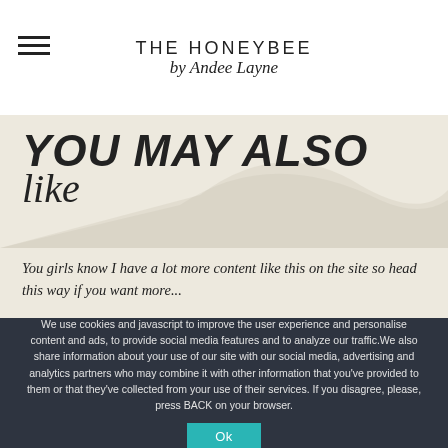THE HONEYBEE by Andee Layne
YOU MAY ALSO like
You girls know I have a lot more content like this on the site so head this way if you want more...
We use cookies and javascript to improve the user experience and personalise content and ads, to provide social media features and to analyze our traffic.We also share information about your use of our site with our social media, advertising and analytics partners who may combine it with other information that you've provided to them or that they've collected from your use of their services. If you disagree, please, press BACK on your browser.